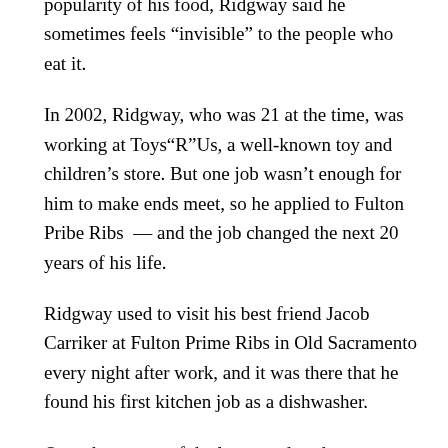popularity of his food, Ridgway said he sometimes feels “invisible” to the people who eat it.
In 2002, Ridgway, who was 21 at the time, was working at Toys“R”Us, a well-known toy and children’s store. But one job wasn’t enough for him to make ends meet, so he applied to Fulton Pribe Ribs — and the job changed the next 20 years of his life.
Ridgway used to visit his best friend Jacob Carriker at Fulton Prime Ribs in Old Sacramento every night after work, and it was there that he found his first kitchen job as a dishwasher.
Over the course of the last two decades, Ridgway has loved working in the kitchen industry, even throughout the most difficult periods. He said that as a service worker, his life hasn’t always been easy. He has more often than not found himself working two jobs, and has at times felt constant worry about his workplace